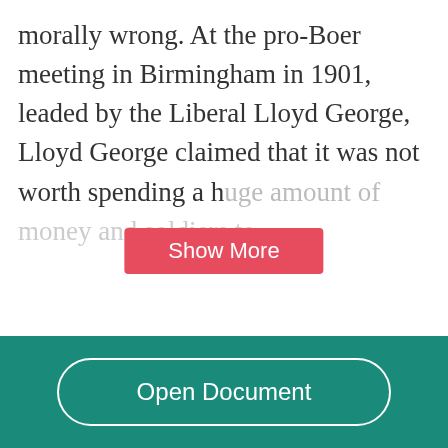morally wrong. At the pro-Boer meeting in Birmingham in 1901, leaded by the Liberal Lloyd George, Lloyd George claimed that it was not worth spending a h[uge amount of] money and soldiers to...
[Figure (other): Red 'Show More' button overlaid on faded text]
Related
Open Document